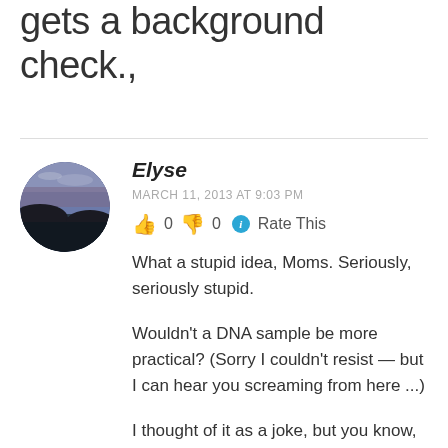gets a background check.,
Elyse
MARCH 11, 2013 AT 9:03 PM
👍 0 👎 0 ℹ Rate This
What a stupid idea, Moms. Seriously, seriously stupid.
Wouldn't a DNA sample be more practical? (Sorry I couldn't resist — but I can hear you screaming from here ...)
I thought of it as a joke, but you know, it's not.